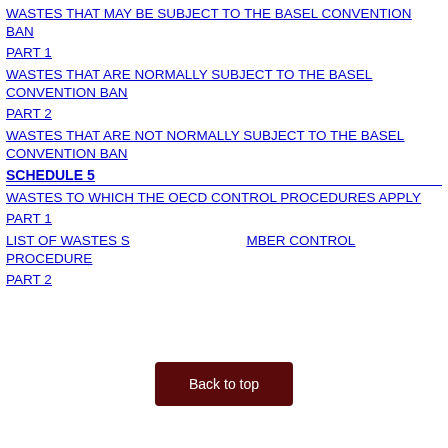WASTES THAT MAY BE SUBJECT TO THE BASEL CONVENTION BAN
PART 1
WASTES THAT ARE NORMALLY SUBJECT TO THE BASEL CONVENTION BAN
PART 2
WASTES THAT ARE NOT NORMALLY SUBJECT TO THE BASEL CONVENTION BAN
SCHEDULE 5
WASTES TO WHICH THE OECD CONTROL PROCEDURES APPLY
PART 1
LIST OF WASTES SUBJECT TO THE AMBER CONTROL PROCEDURE
PART 2